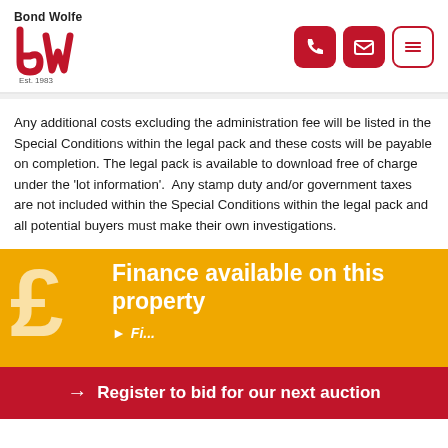Bond Wolfe — Est. 1983 (logo with navigation icons)
Any additional costs excluding the administration fee will be listed in the Special Conditions within the legal pack and these costs will be payable on completion. The legal pack is available to download free of charge under the 'lot information'. Any stamp duty and/or government taxes are not included within the Special Conditions within the legal pack and all potential buyers must make their own investigations.
[Figure (infographic): Finance available on this property banner with pound sign icon on yellow/amber background]
Register to bid for our next auction